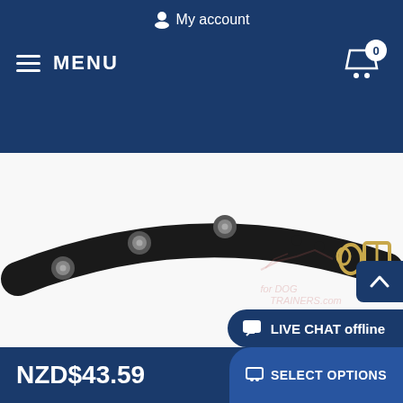My account
MENU
[Figure (photo): Close-up of a narrow black leather dog collar with riveted cone studs and a gold/bronze buckle hardware, shown on a white background. A watermark logo reads 'for DOG TRAINERS.com' with a bird/wing illustration.]
Narrow Leather Dog Collar with Riveted Cones
NZD$43.59
LIVE CHAT offline
SELECT OPTIONS